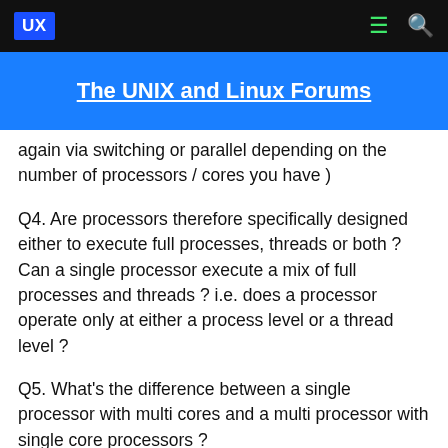UX | The UNIX and Linux Forums
again via switching or parallel depending on the number of processors / cores you have )
Q4. Are processors therefore specifically designed either to execute full processes, threads or both ? Can a single processor execute a mix of full processes and threads ? i.e. does a processor operate only at either a process level or a thread level ?
Q5. What's the difference between a single processor with multi cores and a multi processor with single core processors ?